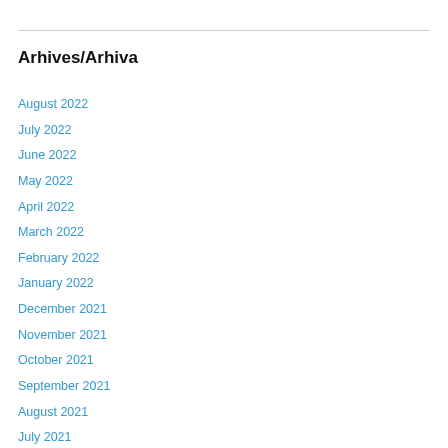Arhives/Arhiva
August 2022
July 2022
June 2022
May 2022
April 2022
March 2022
February 2022
January 2022
December 2021
November 2021
October 2021
September 2021
August 2021
July 2021
June 2021
May 2021